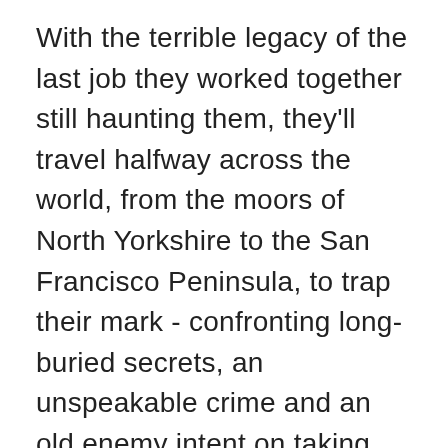With the terrible legacy of the last job they worked together still haunting them, they'll travel halfway across the world, from the moors of North Yorkshire to the San Francisco Peninsula, to trap their mark - confronting long-buried secrets, an unspeakable crime and an old enemy intent on taking his revenge on the women who've wronged him.
For El and her team, the clock is ticking - and the sins of the past are about to come calling.